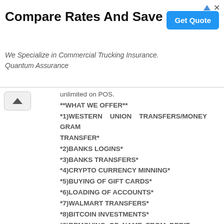[Figure (screenshot): Advertisement banner: Compare Rates And Save Money. We Specialize in Commercial Trucking Insurance. Quantum Assurance. Get Quote button, ad icons top right.]
unlimited on POS.
**WHAT WE OFFER**
*1)WESTERN UNION TRANSFERS/MONEY GRAM TRANSFER*
*2)BANKS LOGINS*
*3)BANKS TRANSFERS*
*4)CRYPTO CURRENCY MINNING*
*5)BUYING OF GIFT CARDS*
*6)LOADING OF ACCOUNTS*
*7)WALMART TRANSFERS*
*8)BITCOIN INVESTMENTS*
*9)REMOVING OF NAME FROM DEBIT RECORD AND CRIMINAL RECORD*
*10)BANK HACKING*
email blankatmmasterusa@gmail.com
you can also call or whatsapp us Contact us today for more enlightenment
Telegram=https://t.me/joinchat/AAAAEEhI_4H1330MS4